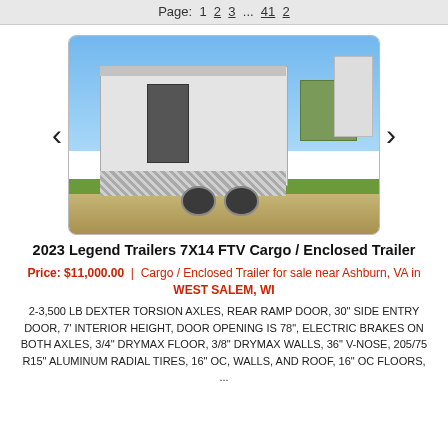Page: 1 2 3 ... 41 2
[Figure (photo): White enclosed cargo trailer with diamond plate lower trim, side entry door, outdoors on gravel, green building in background, blue sky]
2023 Legend Trailers 7X14 FTV Cargo / Enclosed Trailer
Price: $11,000.00 | Cargo / Enclosed Trailer for sale near Ashburn, VA in WEST SALEM, WI
2-3,500 LB DEXTER TORSION AXLES, REAR RAMP DOOR, 30" SIDE ENTRY DOOR, 7' INTERIOR HEIGHT, DOOR OPENING IS 78", ELECTRIC BRAKES ON BOTH AXLES, 3/4" DRYMAX FLOOR, 3/8" DRYMAX WALLS, 36" V-NOSE, 205/75 R15" ALUMINUM RADIAL TIRES, 16" OC, WALLS, AND ROOF, 16" OC FLOORS, ...